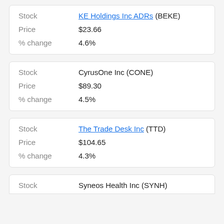| Field | Value |
| --- | --- |
| Stock | KE Holdings Inc ADRs (BEKE) |
| Price | $23.66 |
| % change | 4.6% |
| Field | Value |
| --- | --- |
| Stock | CyrusOne Inc (CONE) |
| Price | $89.30 |
| % change | 4.5% |
| Field | Value |
| --- | --- |
| Stock | The Trade Desk Inc (TTD) |
| Price | $104.65 |
| % change | 4.3% |
| Field | Value |
| --- | --- |
| Stock | Syneos Health Inc (SYNH) |